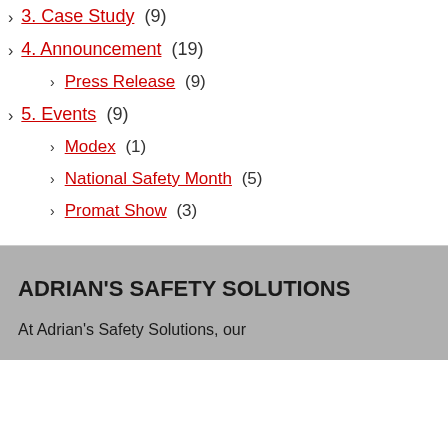3. Case Study (9)
4. Announcement (19)
Press Release (9)
5. Events (9)
Modex (1)
National Safety Month (5)
Promat Show (3)
ADRIAN'S SAFETY SOLUTIONS
At Adrian's Safety Solutions, our